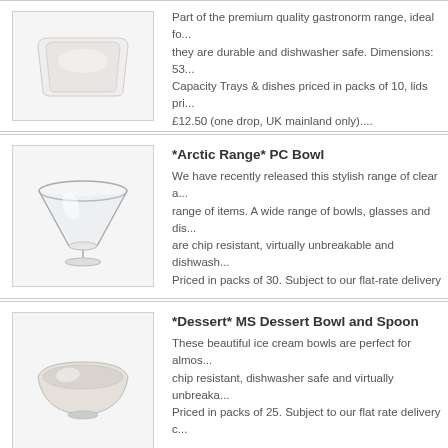[Figure (photo): White rectangular gastronorm tray (premium quality, top-down angle)]
Part of the premium quality gastronorm range, ideal fo... they are durable and dishwasher safe. Dimensions: 53... Capacity Trays & dishes priced in packs of 10, lids pri... £12.50 (one drop, UK mainland only)....
[Figure (photo): Clear polycarbonate martini-style bowl (Arctic Range PC Bowl)]
*Arctic Range* PC Bowl
We have recently released this stylish range of clear a... range of items. A wide range of bowls, glasses and dis... are chip resistant, virtually unbreakable and dishwash... Priced in packs of 30. Subject to our flat-rate delivery
[Figure (photo): Melamine dessert bowl (MS Dessert Bowl and Spoon)]
*Dessert* MS Dessert Bowl and Spoon
These beautiful ice cream bowls are perfect for almos... chip resistant, dishwasher safe and virtually unbreaka... Priced in packs of 25. Subject to our flat rate delivery c...
[Figure (photo): Melamine 1/6 size dish (Flour Crockf Melamine 1/6 Size Dish 176mm)]
*Flour Crockf Melamine 1/6 Size Dish (176mm...